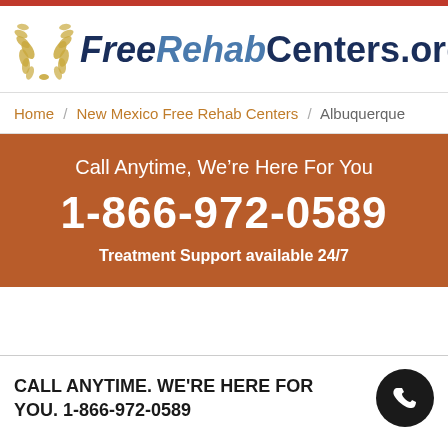[Figure (logo): FreeRehabCenters.org logo with gold laurel wreath on left and italic/bold text]
Home / New Mexico Free Rehab Centers / Albuquerque
Call Anytime, We're Here For You
1-866-972-0589
Treatment Support available 24/7
CALL ANYTIME. WE'RE HERE FOR YOU. 1-866-972-0589